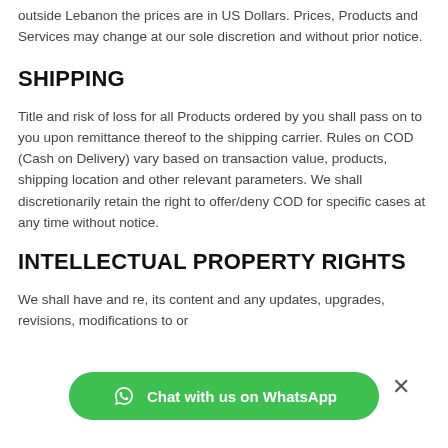outside Lebanon the prices are in US Dollars. Prices, Products and Services may change at our sole discretion and without prior notice.
SHIPPING
Title and risk of loss for all Products ordered by you shall pass on to you upon remittance thereof to the shipping carrier. Rules on COD (Cash on Delivery) vary based on transaction value, products, shipping location and other relevant parameters. We shall discretionarily retain the right to offer/deny COD for specific cases at any time without notice.
INTELLECTUAL PROPERTY RIGHTS
We shall have and re[...], its content and any updates, upgrades, revisions, modifications to or